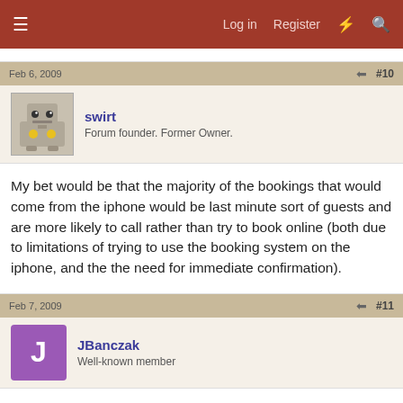≡   Log in   Register   ⚡   🔍
Feb 6, 2009   #10
swirt
Forum founder. Former Owner.
My bet would be that the majority of the bookings that would come from the iphone would be last minute sort of guests and are more likely to call rather than try to book online (both due to limitations of trying to use the booking system on the iphone, and the the need for immediate confirmation).
Feb 7, 2009   #11
JBanczak
Well-known member
We've been looking at launching more of a cross